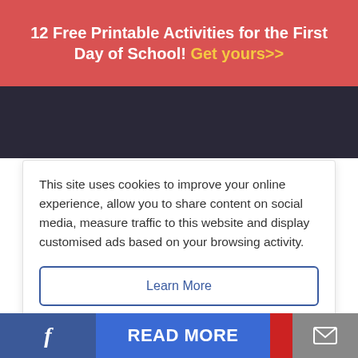12 Free Printable Activities for the First Day of School! Get yours>>
[Figure (photo): Dark photo strip at top showing people against a chain-link fence]
This site uses cookies to improve your online experience, allow you to share content on social media, measure traffic to this website and display customised ads based on your browsing activity.
Learn More
Accept
[Figure (photo): Dark photo at bottom showing a person in a dark sweater]
f  READ MORE  on Newz Online